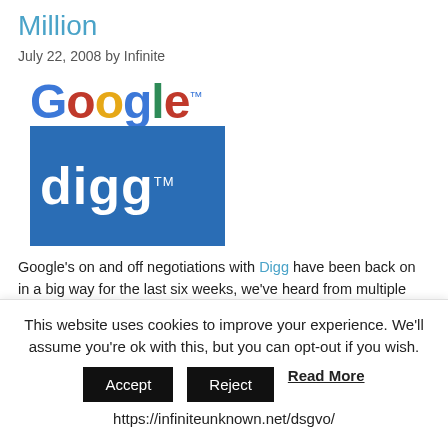Million
July 22, 2008 by Infinite
[Figure (logo): Google logo and Digg logo stacked vertically]
Google’s on and off negotiations with Digg have been back on in a big way for the last six weeks, we've heard from multiple sources inside of Google, and the two companies are close to a deal that will bring Digg under
This website uses cookies to improve your experience. We'll assume you're ok with this, but you can opt-out if you wish. Accept Reject Read More https://infiniteunknown.net/dsgvo/